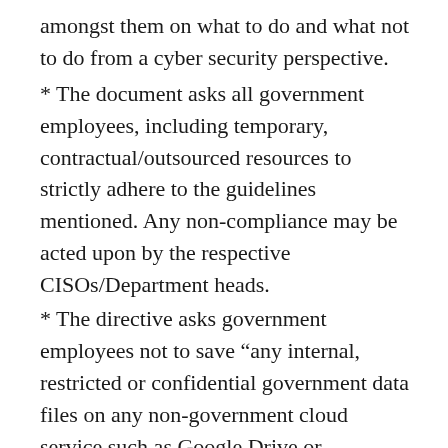amongst them on what to do and what not to do from a cyber security perspective.
* The document asks all government employees, including temporary, contractual/outsourced resources to strictly adhere to the guidelines mentioned. Any non-compliance may be acted upon by the respective CISOs/Department heads.
* The directive asks government employees not to save “any internal, restricted or confidential government data files on any non-government cloud service such as Google Drive or Dropbox.”
* It asks government employees not to ‘jailbreak’ or ‘root’ their mobile phones.
* Not to use any external mobile app-based scanner services such as CamScanner to scan “internal government documents”.
* On April 28, Cert-In had issued a set of rules that